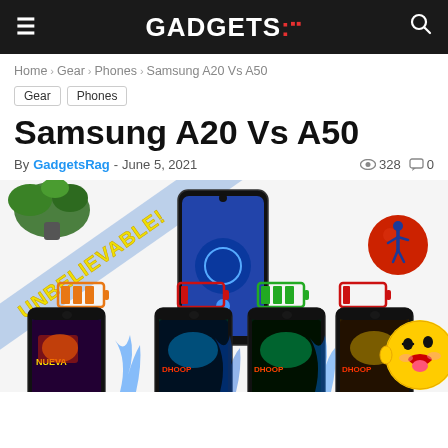GADGETS:
Home > Gear > Phones > Samsung A20 Vs A50
Gear   Phones
Samsung A20 Vs A50
By GadgetsRag - June 5, 2021  328  0
[Figure (photo): Samsung A20 vs A50 comparison photo showing multiple Samsung phones with battery indicator overlays, 'UNBELIEVABLE!' banner, plants, decorative items, and emoji]